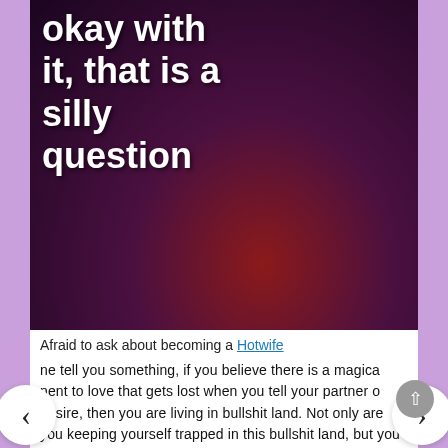[Figure (photo): Woman in black dress lying on a red surface, with overlaid bold white text reading 'okay with it, that is a silly question']
Afraid to ask about becoming a Hotwife
ne tell you something, if you believe there is a magical element to love that gets lost when you tell your partner of a desire, then you are living in bullshit land. Not only are you keeping yourself trapped in this bullshit land, but you are keeping your partner in there with you, forever keeping them “in love” with a fictional version of yourself with no sexual desires. Step up and speak, a true partner values the truth.
If you expressed a sexual desire and your partner left, then you two are not designed to be together, plain and simple.